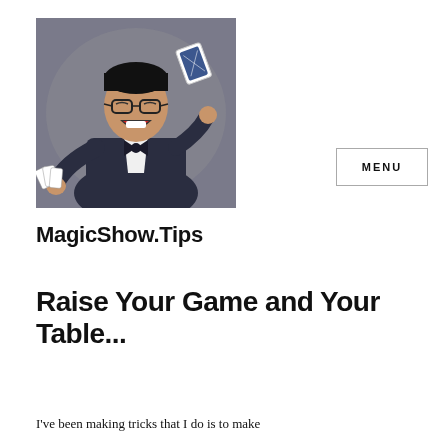[Figure (photo): A man in a navy suit and bow tie laughing with mouth open, throwing a playing card in the air with one hand and holding a fan of cards in the other, on a grey background.]
MagicShow.Tips
MENU
Raise Your Game and Your Table...
I've been making tricks that I do is to make